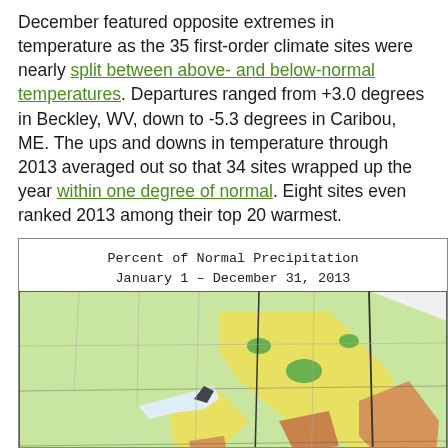December featured opposite extremes in temperature as the 35 first-order climate sites were nearly split between above- and below-normal temperatures. Departures ranged from +3.0 degrees in Beckley, WV, down to -5.3 degrees in Caribou, ME. The ups and downs in temperature through 2013 averaged out so that 34 sites wrapped up the year within one degree of normal. Eight sites even ranked 2013 among their top 20 warmest.
[Figure (map): Map titled 'Percent of Normal Precipitation January 1 – December 31, 2013' showing a color-coded precipitation map of the northeastern United States with green, yellow, and orange/brown regions indicating varying precipitation percentages.]